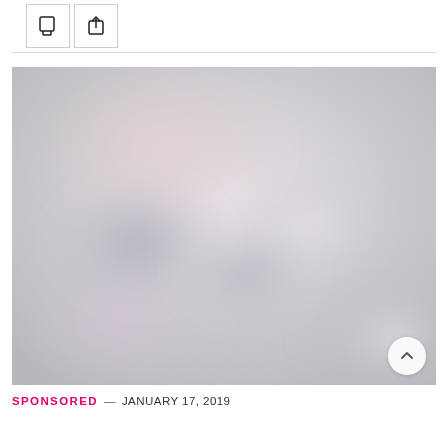[Figure (other): Two icon buttons: a bookmark/chat icon and a share/export icon, each in a square outlined box]
[Figure (photo): A blurred, overexposed indoor photograph with soft pinkish and grayish tones, likely a hallway or room interior]
SPONSORED — JANUARY 17, 2019